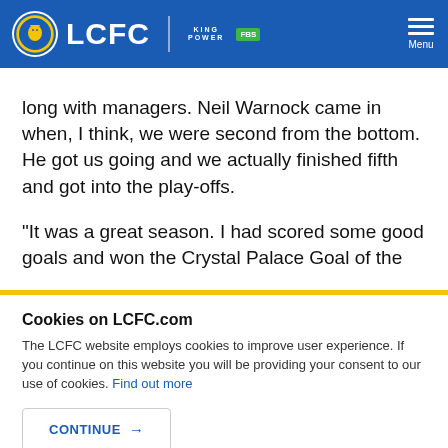LCFC | KING POWER | FBS | Menu
long with managers. Neil Warnock came in when, I think, we were second from the bottom. He got us going and we actually finished fifth and got into the play-offs.
“It was a great season. I had scored some good goals and won the Crystal Palace Goal of the
Cookies on LCFC.com
The LCFC website employs cookies to improve user experience. If you continue on this website you will be providing your consent to our use of cookies. Find out more
CONTINUE →